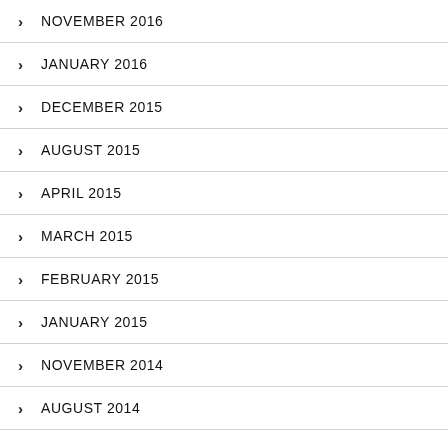NOVEMBER 2016
JANUARY 2016
DECEMBER 2015
AUGUST 2015
APRIL 2015
MARCH 2015
FEBRUARY 2015
JANUARY 2015
NOVEMBER 2014
AUGUST 2014